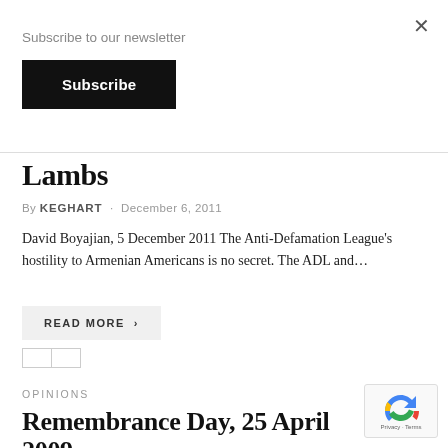Subscribe to our newsletter
Subscribe
Lambs
By KEGHART · December 6, 2011
David Boyajian, 5 December 2011 The Anti-Defamation League's hostility to Armenian Americans is no secret. The ADL and…
READ MORE >
OPINIONS
Remembrance Day, 25 April 2009